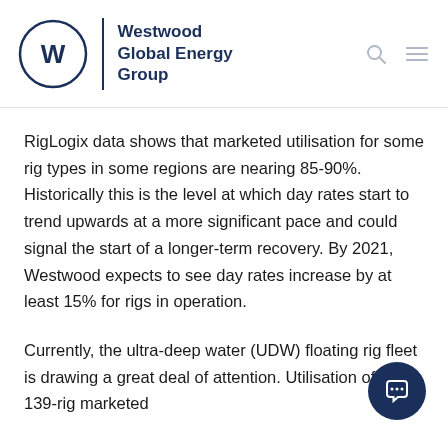Westwood Global Energy Group
RigLogix data shows that marketed utilisation for some rig types in some regions are nearing 85-90%.  Historically this is the level at which day rates start to trend upwards at a more significant pace and could signal the start of a longer-term recovery.  By 2021, Westwood expects to see day rates increase by at least 15% for rigs in operation.
Currently, the ultra-deep water (UDW) floating rig fleet is drawing a great deal of attention.  Utilisation of the 139-rig marketed